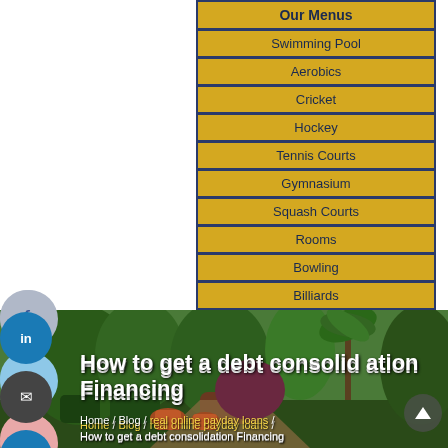| Our Menus |
| Swimming Pool |
| Aerobics |
| Cricket |
| Hockey |
| Tennis Courts |
| Gymnasium |
| Squash Courts |
| Rooms |
| Bowling |
| Billiards |
| Library |
[Figure (photo): Garden/park photo with lush green trees, palms, trimmed bushes, and a pathway with clay pots]
How to get a debt consolidation Financing
Home / Blog / real online payday loans / How to get a debt consolidation Financing